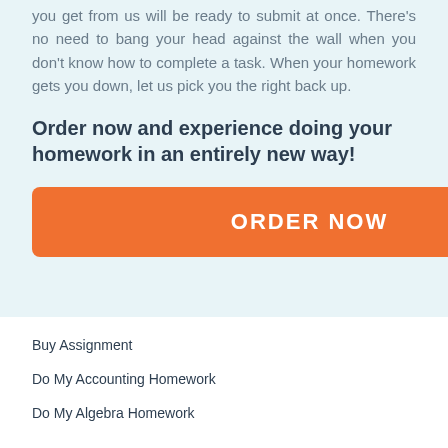you get from us will be ready to submit at once. There's no need to bang your head against the wall when you don't know how to complete a task. When your homework gets you down, let us pick you the right back up.
Order now and experience doing your homework in an entirely new way!
[Figure (other): Orange button with text ORDER NOW]
Buy Assignment
Do My Accounting Homework
Do My Algebra Homework